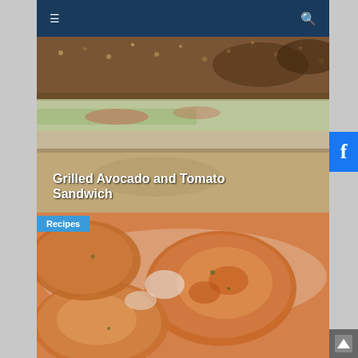≡   🔍
[Figure (photo): Close-up photo of a grilled avocado and tomato sandwich with toasted bread showing crispy grains on top]
Grilled Avocado and Tomato Sandwich
Recipes
[Figure (photo): Close-up photo of golden-brown breaded and fried food patties or fritters on a white plate]